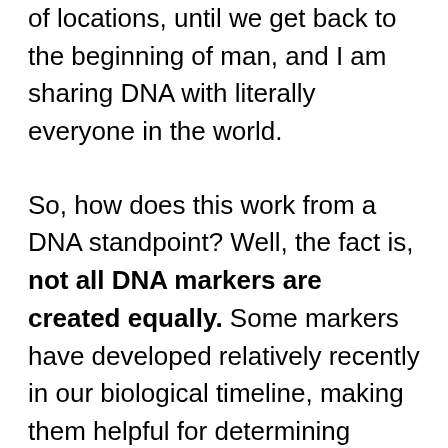of locations, until we get back to the beginning of man, and I am sharing DNA with literally everyone in the world.

So, how does this work from a DNA standpoint? Well, the fact is, not all DNA markers are created equally. Some markers have developed relatively recently in our biological timeline, making them helpful for determining recent relationships and modern populations. Others have been around longer, linking us to early settlers of Europe or even Asia. Still others link us together as a human race and help to track our origins back to a single time and place.